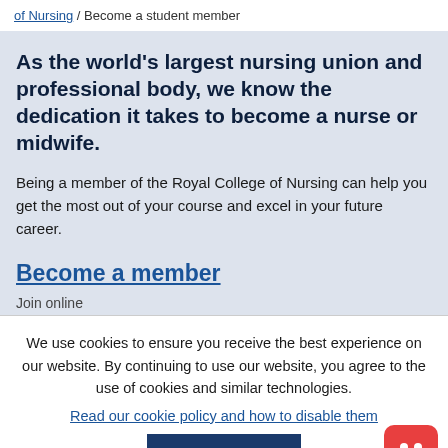of Nursing / Become a student member
As the world's largest nursing union and professional body, we know the dedication it takes to become a nurse or midwife.
Being a member of the Royal College of Nursing can help you get the most out of your course and excel in your future career.
Become a member
We use cookies to ensure you receive the best experience on our website. By continuing to use our website, you agree to the use of cookies and similar technologies.
Read our cookie policy and how to disable them
I AGREE